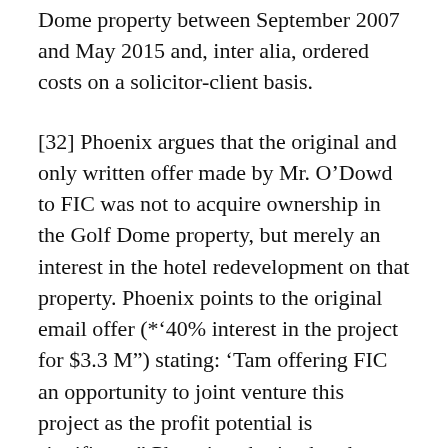Dome property between September 2007 and May 2015 and, inter alia, ordered costs on a solicitor-client basis.
[32] Phoenix argues that the original and only written offer made by Mr. O’Dowd to FIC was not to acquire ownership in the Golf Dome property, but merely an interest in the hotel redevelopment on that property. Phoenix points to the original email offer (*‘40% interest in the project for $3.3 M”) stating: ‘Tam offering FIC an opportunity to joint venture this project as the profit potential is significant.” Phoenix submits that there was no other objective evidence at trial that it was FIC’s “intent” to acquire a 20% interest in the